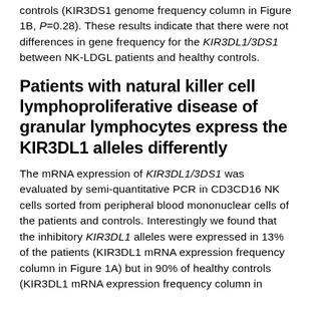controls (KIR3DS1 genome frequency column in Figure 1B, P=0.28). These results indicate that there were not differences in gene frequency for the KIR3DL1/3DS1 between NK-LDGL patients and healthy controls.
Patients with natural killer cell lymphoproliferative disease of granular lymphocytes express the KIR3DL1 alleles differently
The mRNA expression of KIR3DL1/3DS1 was evaluated by semi-quantitative PCR in CD3CD16 NK cells sorted from peripheral blood mononuclear cells of the patients and controls. Interestingly we found that the inhibitory KIR3DL1 alleles were expressed in 13% of the patients (KIR3DL1 mRNA expression frequency column in Figure 1A) but in 90% of healthy controls (KIR3DL1 mRNA expression frequency column in